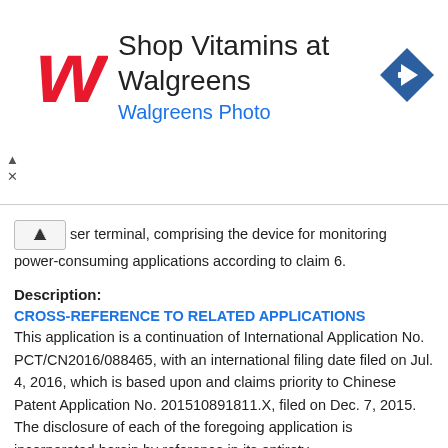[Figure (other): Walgreens advertisement banner with logo, 'Shop Vitamins at Walgreens' headline, 'Walgreens Photo' subheading, and a blue diamond-shaped navigation icon]
ser terminal, comprising the device for monitoring power-consuming applications according to claim 6.
Description:
CROSS-REFERENCE TO RELATED APPLICATIONS
This application is a continuation of International Application No. PCT/CN2016/088465, with an international filing date filed on Jul. 4, 2016, which is based upon and claims priority to Chinese Patent Application No. 201510891811.X, filed on Dec. 7, 2015. The disclosure of each of the foregoing application is incorporated herein by reference in its entirety.
TECHNICAL FIELD
The disclosure relates to the technical field of mobile communications, in particular to a method and device for monitoring power-consuming applications, a user terminal, a computer program and a storage medium.
BACKGROUND
At present, many android applications are not optimized in the aspect of power consumption. Therefore, more and more applications will hold CPU